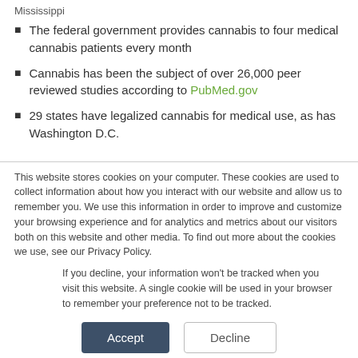Mississippi
The federal government provides cannabis to four medical cannabis patients every month
Cannabis has been the subject of over 26,000 peer reviewed studies according to PubMed.gov
29 states have legalized cannabis for medical use, as has Washington D.C.
This website stores cookies on your computer. These cookies are used to collect information about how you interact with our website and allow us to remember you. We use this information in order to improve and customize your browsing experience and for analytics and metrics about our visitors both on this website and other media. To find out more about the cookies we use, see our Privacy Policy.
If you decline, your information won’t be tracked when you visit this website. A single cookie will be used in your browser to remember your preference not to be tracked.